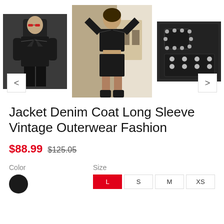[Figure (photo): Three product photos: left shows a woman wearing a black denim jacket with sunglasses; center shows a woman wearing a black cropped denim jacket and black mini skirt with boots; right shows a close-up detail of the jacket fabric with silver studs.]
Jacket Denim Coat Long Sleeve Vintage Outerwear Fashion
$88.99  $125.05
Color   Size
L  S  M  XS